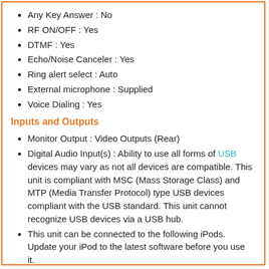Any Key Answer : No
RF ON/OFF : Yes
DTMF : Yes
Echo/Noise Canceler : Yes
Ring alert select : Auto
External microphone : Supplied
Voice Dialing : Yes
Inputs and Outputs
Monitor Output : Video Outputs (Rear)
Digital Audio Input(s) : Ability to use all forms of USB devices may vary as not all devices are compatible. This unit is compliant with MSC (Mass Storage Class) and MTP (Media Transfer Protocol) type USB devices compliant with the USB standard. This unit cannot recognize USB devices via a USB hub.
This unit can be connected to the following iPods. Update your iPod to the latest software before you use it.
iPod Nano 1st - 6th generation
iPod Touch 1st - 4th generation
iPod Classic
iPod with video
iPhone